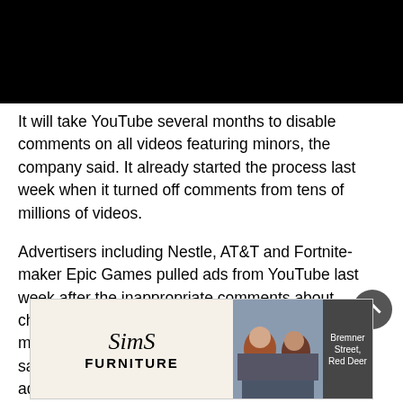[Figure (photo): Black rectangle banner at top of page]
It will take YouTube several months to disable comments on all videos featuring minors, the company said. It already started the process last week when it turned off comments from tens of millions of videos.
Advertisers including Nestle, AT&T and Fortnite-maker Epic Games pulled ads from YouTube last week after the inappropriate comments about children were unearthed by a popular YouTuber and media reports. At least one company, Nestle, was satisfied with YouTube's response and reinstated ads late last week.
[Figure (photo): Sims Furniture advertisement banner with logo on left and photo of people on a couch on the right, with text overlay 'Bremner Street, Red Deer']